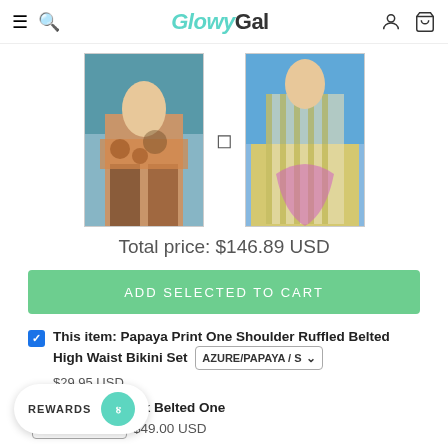GlowyGal
[Figure (photo): Two women wearing bikinis — left in leopard/tropical print bikini by pool, right in striped/colorful bikini at beach]
Total price: $146.89 USD
ADD SELECTED TO CART
This item: Papaya Print One Shoulder Ruffled Belted High Waist Bikini Set  AZURE/PAPAYA / S
$29.95 USD
le Shoulder V Neck Belted One  E/PAPAYA / S  $49.00 USD
REWARDS